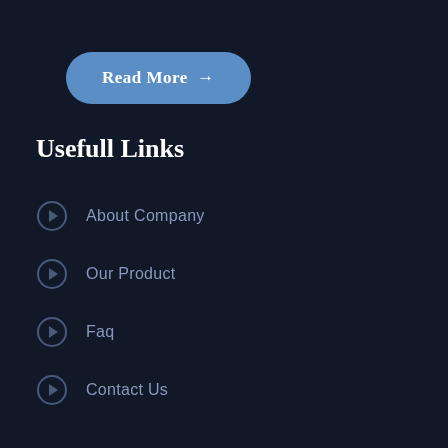Read More →
Usefull Links
About Company
Our Product
Faq
Contact Us
Product
Outdoor Trampoline